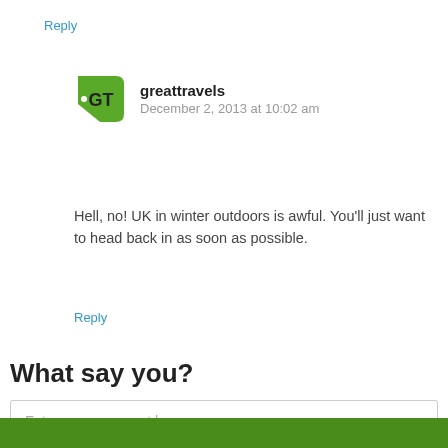Reply
greattravels
December 2, 2013 at 10:02 am
Hell, no! UK in winter outdoors is awful. You'll just want to head back in as soon as possible.
Reply
What say you?
Enter your comment here...